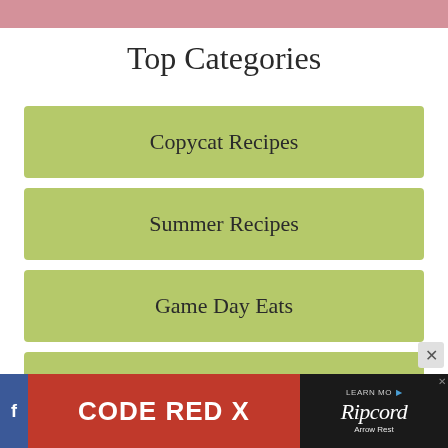Top Categories
Copycat Recipes
Summer Recipes
Game Day Eats
Air Fryer
Chicken Recipes
[Figure (screenshot): Advertisement banner at bottom: CODE RED X on red background with Ripcord branding on dark background]